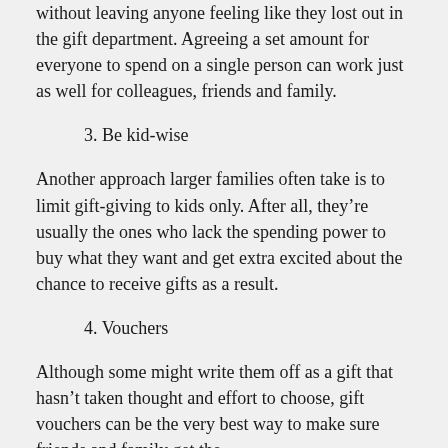without leaving anyone feeling like they lost out in the gift department. Agreeing a set amount for everyone to spend on a single person can work just as well for colleagues, friends and family.
3. Be kid-wise
Another approach larger families often take is to limit gift-giving to kids only. After all, they're usually the ones who lack the spending power to buy what they want and get extra excited about the chance to receive gifts as a result.
4. Vouchers
Although some might write them off as a gift that hasn't taken thought and effort to choose, gift vouchers can be the very best way to make sure friends and family get the